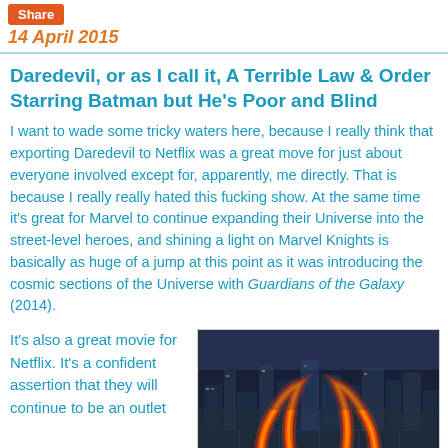Share
14 April 2015
Daredevil, or as I call it, A Terrible Law & Order Starring Batman but He's Poor and Blind
I want to wade some tricky waters here, because I really think that exporting Daredevil to Netflix was a great move for just about everyone involved except for, apparently, me directly. That is because I really really hated this fucking show. At the same time it's great for Marvel to continue expanding their Universe into the street-level heroes, and shining a light on Marvel Knights is basically as huge of a jump at this point as it was introducing the cosmic sections of the Universe with Guardians of the Galaxy (2014).
It's also a great movie for Netflix. It's a confident assertion that they will continue to be an outlet
[Figure (photo): Aerial night view of a city with the Daredevil logo (devil horns) formed by glowing orange/red light trails over city blocks]